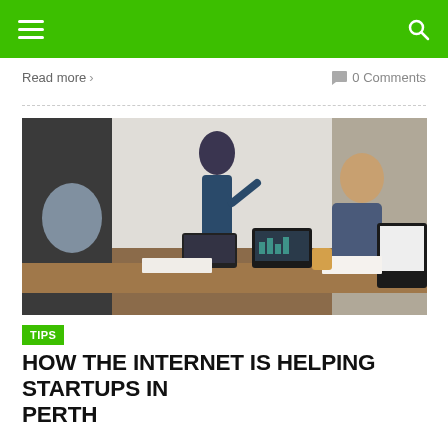Navigation bar with hamburger menu and search icon
Read more >
0 Comments
[Figure (photo): Business meeting scene with people around a conference table with laptops, one person writing on a whiteboard in the background]
TIPS
HOW THE INTERNET IS HELPING STARTUPS IN PERTH